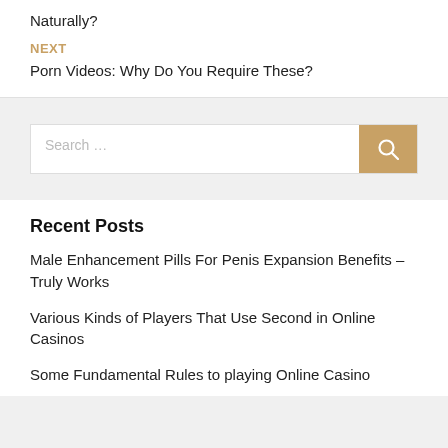Naturally?
NEXT
Porn Videos: Why Do You Require These?
Search ...
Recent Posts
Male Enhancement Pills For Penis Expansion Benefits – Truly Works
Various Kinds of Players That Use Second in Online Casinos
Some Fundamental Rules to playing Online Casino